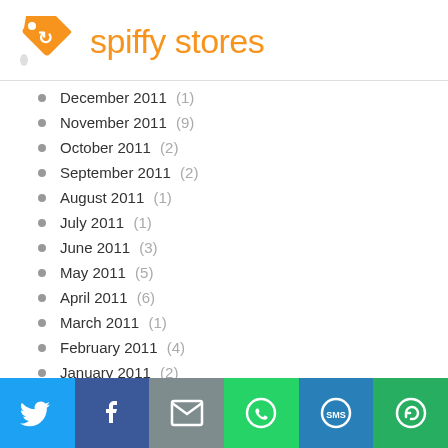[Figure (logo): Spiffy Stores logo with orange price tag icon and brand name]
December 2011 (1)
November 2011 (9)
October 2011 (2)
September 2011 (2)
August 2011 (1)
July 2011 (1)
June 2011 (3)
May 2011 (5)
April 2011 (6)
March 2011 (1)
February 2011 (4)
January 2011 (2)
December 2010 (2)
[Figure (infographic): Social sharing bar with Twitter, Facebook, Email, WhatsApp, SMS, and share icons]